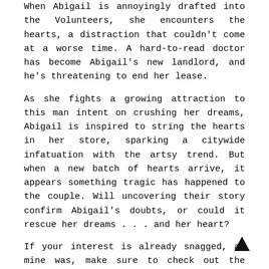When Abigail is annoyingly drafted into the Volunteers, she encounters the hearts, a distraction that couldn't come at a worse time. A hard-to-read doctor has become Abigail's new landlord, and he's threatening to end her lease.
As she fights a growing attraction to this man intent on crushing her dreams, Abigail is inspired to string the hearts in her store, sparking a citywide infatuation with the artsy trend. But when a new batch of hearts arrive, it appears something tragic has happened to the couple. Will uncovering their story confirm Abigail's doubts, or could it rescue her dreams . . . and her heart?
If your interest is already snagged, as mine was, make sure to check out the author's Facebook page!
My Personal Thoughts:
Well, it happened. I found a contemporary romance that I can genuinely say I love. Do you ever tire of those books about people who have everything together? Their lives are successful, they're confident in everything they do, they meet, fall in love, and everything is perfect. Those types of books always make me feel